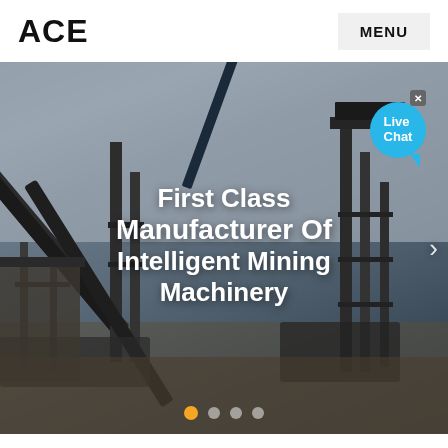ACE
MENU
[Figure (photo): Industrial mining machinery facility with conveyor belts, steel structures, and heavy equipment at an outdoor mining site. Overcast sky in background.]
First Class Manufacturer Of Intelligent Mining Machinery